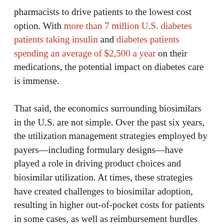pharmacists to drive patients to the lowest cost option. With more than 7 million U.S. diabetes patients taking insulin and diabetes patients spending an average of $2,500 a year on their medications, the potential impact on diabetes care is immense.
That said, the economics surrounding biosimilars in the U.S. are not simple. Over the past six years, the utilization management strategies employed by payers—including formulary designs—have played a role in driving product choices and biosimilar utilization. At times, these strategies have created challenges to biosimilar adoption, resulting in higher out-of-pocket costs for patients in some cases, as well as reimbursement hurdles and operational burdens for providers who have been forced to carry multiple products in their inventory.